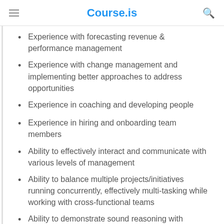Course.is
Experience with forecasting revenue & performance management
Experience with change management and implementing better approaches to address opportunities
Experience in coaching and developing people
Experience in hiring and onboarding team members
Ability to effectively interact and communicate with various levels of management
Ability to balance multiple projects/initiatives running concurrently, effectively multi-tasking while working with cross-functional teams
Ability to demonstrate sound reasoning with